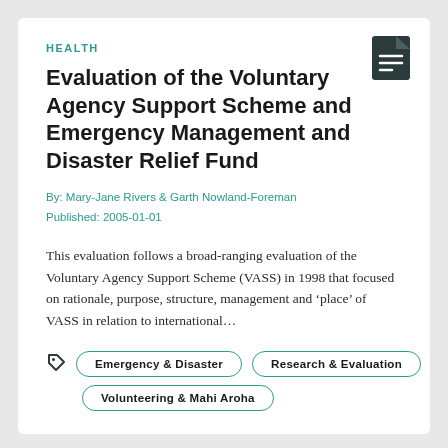HEALTH
Evaluation of the Voluntary Agency Support Scheme and Emergency Management and Disaster Relief Fund
By: Mary-Jane Rivers & Garth Nowland-Foreman
Published: 2005-01-01
This evaluation follows a broad-ranging evaluation of the Voluntary Agency Support Scheme (VASS) in 1998 that focused on rationale, purpose, structure, management and ‘place’ of VASS in relation to international…
Emergency & Disaster
Research & Evaluation
Volunteering & Mahi Aroha